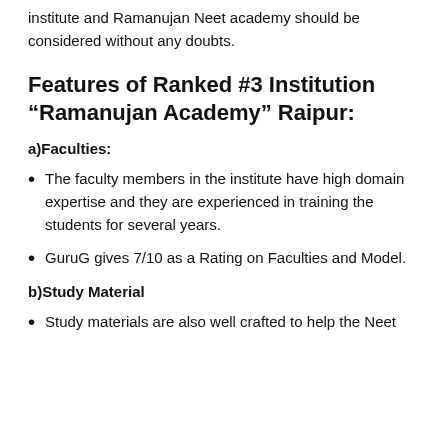institute and Ramanujan Neet academy should be considered without any doubts.
Features of Ranked #3 Institution “Ramanujan Academy” Raipur:
a)Faculties:
The faculty members in the institute have high domain expertise and they are experienced in training the students for several years.
GuruG gives 7/10 as a Rating on Faculties and Model.
b)Study Material
Study materials are also well crafted to help the Neet